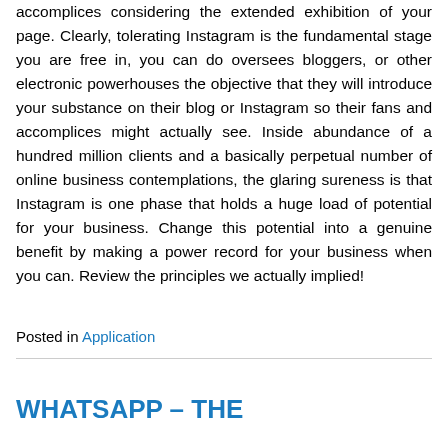accomplices considering the extended exhibition of your page. Clearly, tolerating Instagram is the fundamental stage you are free in, you can do oversees bloggers, or other electronic powerhouses the objective that they will introduce your substance on their blog or Instagram so their fans and accomplices might actually see. Inside abundance of a hundred million clients and a basically perpetual number of online business contemplations, the glaring sureness is that Instagram is one phase that holds a huge load of potential for your business. Change this potential into a genuine benefit by making a power record for your business when you can. Review the principles we actually implied!
Posted in Application
WHATSAPP – THE